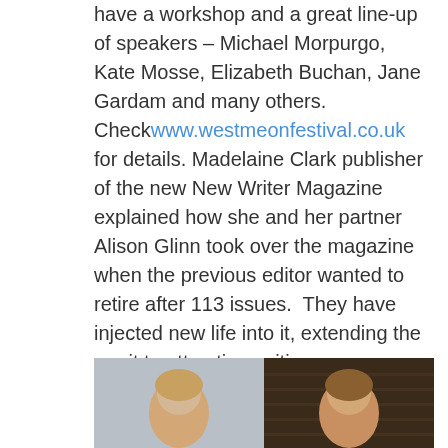have a workshop and a great line-up of speakers – Michael Morpurgo, Kate Mosse, Elizabeth Buchan, Jane Gardam and many others. Check www.westmeonfestival.co.uk for details. Madelaine Clark publisher of the new New Writer Magazine explained how she and her partner Alison Glinn took over the magazine when the previous editor wanted to retire after 113 issues.  They have injected new life into it, extending the remit to attracting writing groups, developing it as a sister magazine to the their other publication New Books. They gave everyone a copy and encouraged people to subscribe at a special price of £18 per year. Check the newwriter.com and newbooksmag.com.
David
[Figure (photo): A photo showing two women smiling, split across two panels with a light background on the left and a wooden/dark background on the right.]